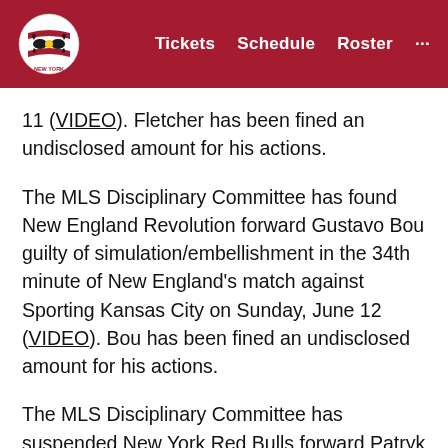New York Red Bulls — Tickets  Schedule  Roster  ...
11 (VIDEO). Fletcher has been fined an undisclosed amount for his actions.
The MLS Disciplinary Committee has found New England Revolution forward Gustavo Bou guilty of simulation/embellishment in the 34th minute of New England's match against Sporting Kansas City on Sunday, June 12 (VIDEO). Bou has been fined an undisclosed amount for his actions.
The MLS Disciplinary Committee has suspended New York Red Bulls forward Patryk Klimala for one match and fined Klimala an undisclosed amount for serious foul play during New York's match against Charlotte FC on